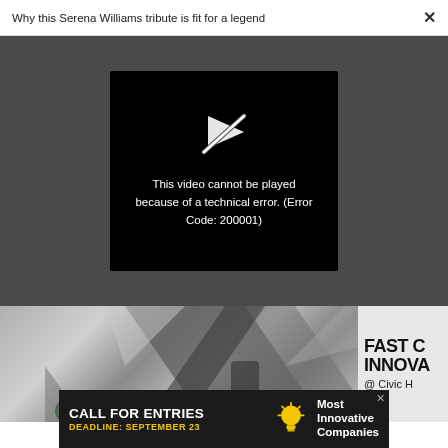Why this Serena Williams tribute is fit for a legend
[Figure (screenshot): Video player showing an error message on a dark grey background. A black rectangle in the center contains a broken play icon and the text: 'This video cannot be played because of a technical error. (Error Code: 200001)']
[Figure (photo): Partial photo of people at an event with a geometric backdrop and text reading 'FAST C...', 'INNOVA...', '@ Civic H...' visible on the right side]
[Figure (infographic): Advertisement banner reading 'CALL FOR ENTRIES', 'DEADLINE: SEPTEMBER 23', 'Most Innovative Companies' with a lightbulb icon on a dark background]